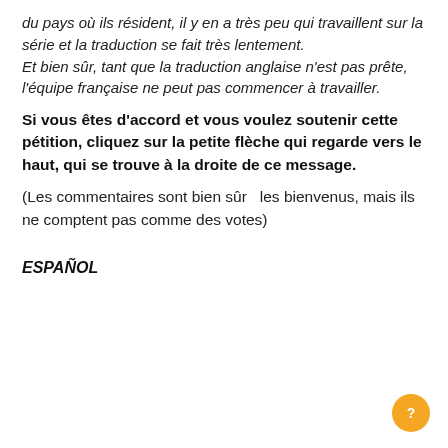du pays où ils résident, il y en a très peu qui travaillent sur la série et la traduction se fait très lentement.
Et bien sûr, tant que la traduction anglaise n'est pas prête, l'équipe française ne peut pas commencer à travailler.
Si vous êtes d'accord et vous voulez soutenir cette pétition, cliquez sur la petite flèche qui regarde vers le haut, qui se trouve à la droite de ce message.
(Les commentaires sont bien sûr  les bienvenus, mais ils ne comptent pas comme des votes)
ESPAÑOL